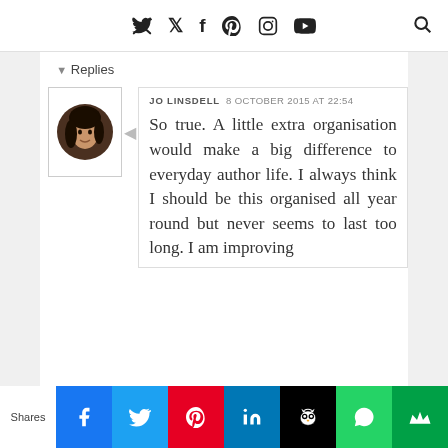Social media navigation bar with Twitter, Facebook, Pinterest, Instagram, YouTube icons and search
▾ Replies
[Figure (photo): Profile photo of Jo Linsdell - circular avatar showing a woman with dark hair]
JO LINSDELL  8 OCTOBER 2015 AT 22:54

So true. A little extra organisation would make a big difference to everyday author life. I always think I should be this organised all year round but never seems to last too long. I am improving
Shares | Facebook | Twitter | Pinterest | LinkedIn | Buffer | WhatsApp | Crown